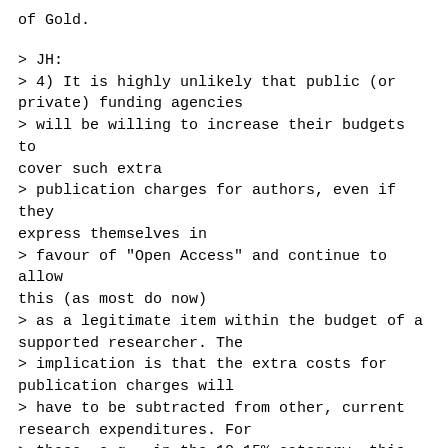of Gold.
> JH:
> 4) It is highly unlikely that public (or private) funding agencies
> will be willing to increase their budgets to cover such extra
> publication charges for authors, even if they express themselves in
> favour of "Open Access" and continue to allow this (as most do now)
> as a legitimate item within the budget of a supported researcher. The
> implication is that the extra costs for publication charges will
> have to be subtracted from other, current research expenditures. For
> those, e.g., in the 10-15% category, this means, effectively, a 10-15%
> cut in their "actual" research budgets.
Agreed that the costs of Gold, while the